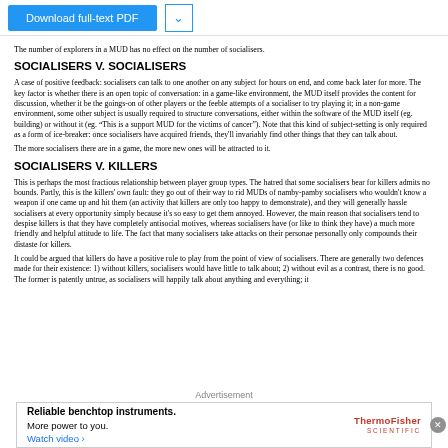Download full-text PDF
The number of explorers in a MUD has no effect on the number of socialisers.
SOCIALISERS V. SOCIALISERS
A case of positive feedback: socialisers can talk to one another on any subject for hours on end, and come back later for more. The key factor is whether there is an open topic of conversation: in a game-like environment, the MUD itself provides the content for discussion, whether it be the goings-on of other players or the feeble attempts of a socialiser to try playing it; in a non-game environment, some other subject is usually required to structure conversations, either within the software of the MUD itself (eg. building) or without it (eg. "This is a support MUD for the victims of cancer"). Note that this kind of subject-setting is only required as a form of ice-breaker: once socialisers have acquired friends, they'll invariably find other things that they can talk about.
The more socialisers there are in a game, the more new ones will be attracted to it.
SOCIALISERS V. KILLERS
This is perhaps the most fractious relationship between player group types. The hatred that some socialisers bear for killers admits no bounds. Partly, this is the killers' own fault: they go out of their way to rid MUDs of namby-pamby socialisers who wouldn't know a weapon if one came up and hit them (an activity that killers are only too happy to demonstrate), and they will generally hassle socialisers at every opportunity simply because it's so easy to get them annoyed. However, the main reason that socialisers tend to despise killers is that they have completely antisocial motives, whereas socialisers have (or like to think they have) a much more friendly and helpful attitude to life. The fact that many socialisers take attacks on their personae personally only compounds their distaste for killers.
It could be argued that killers do have a positive role to play from the point of view of socialisers. There are generally two defences made for their existence: 1) without killers, socialisers would have little to talk about; 2) without evil as a contrast, there is no good. The former is patently untrue, as socialisers will happily talk about anything and everything; it
Advertisement
Reliable benchtop instruments. More power to you. Watch video › ThermoFisher SCIENTIFIC